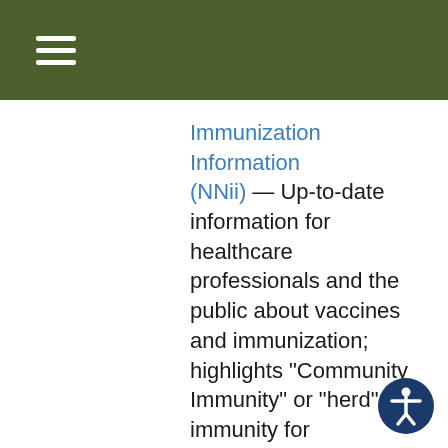Navigation menu
Immunization Information (NNii) — Up-to-date information for healthcare professionals and the public about vaccines and immunization; highlights "Community Immunity" or "herd" immunity for